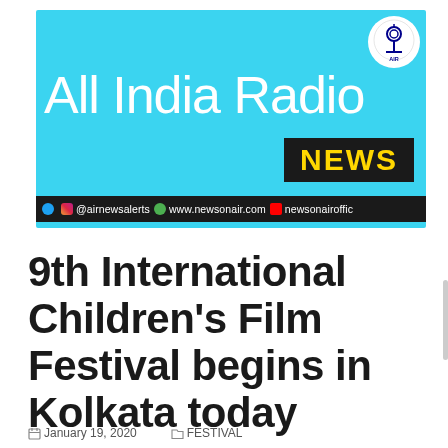[Figure (screenshot): All India Radio News banner screenshot with sky-blue background, large white 'All India Radio' text, a dark 'NEWS' badge in yellow text, AIR circular logo top-right, and a black social media bar at the bottom showing @airnewsalerts, www.newsonair.com, newsonairoffic]
9th International Children's Film Festival begins in Kolkata today
January 19, 2020   FESTIVAL